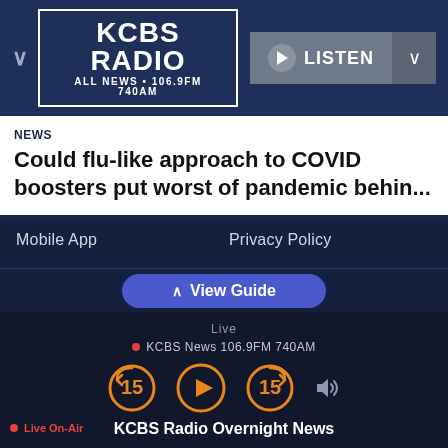[Figure (logo): KCBS Radio logo - ALL NEWS 106.9FM 740AM in white border box on dark blue header]
NEWS
Could flu-like approach to COVID boosters put worst of pandemic behin...
Mobile App
CONNECT
FAQ
1Thing
Get My PERKS
Privacy Policy
Terms of Use
Copyright Notice
Music Submission Policy
Do Not Sell My Personal Information
View Guide
KCBS Radio Overnight News